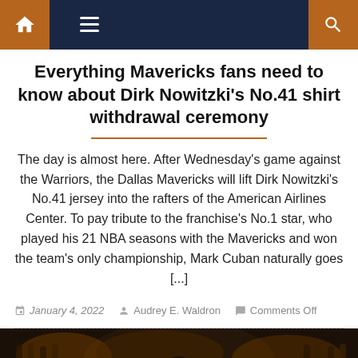Navigation bar with home, menu, and search icons
Everything Mavericks fans need to know about Dirk Nowitzki's No.41 shirt withdrawal ceremony
The day is almost here. After Wednesday's game against the Warriors, the Dallas Mavericks will lift Dirk Nowitzki's No.41 jersey into the rafters of the American Airlines Center. To pay tribute to the franchise's No.1 star, who played his 21 NBA seasons with the Mavericks and won the team's only championship, Mark Cuban naturally goes [...]
January 4, 2022  Audrey E. Waldron  Comments Off
[Figure (photo): Basketball arena photo showing a player on the court with crowd in the background]